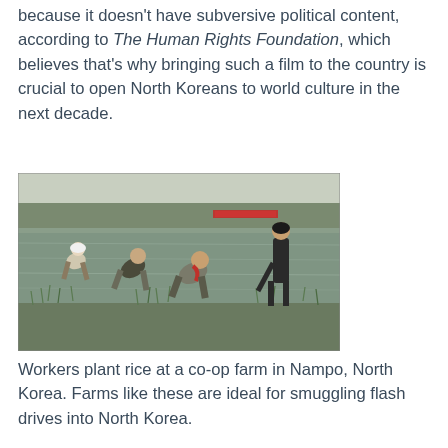because it doesn't have subversive political content, according to The Human Rights Foundation, which believes that's why bringing such a film to the country is crucial to open North Koreans to world culture in the next decade.
[Figure (photo): Workers bent over planting rice seedlings in flooded paddy fields at a co-op farm in Nampo, North Korea. Several people in work clothes are wading through water and mud, inserting rice plants into the ground.]
Workers plant rice at a co-op farm in Nampo, North Korea. Farms like these are ideal for smuggling flash drives into North Korea.